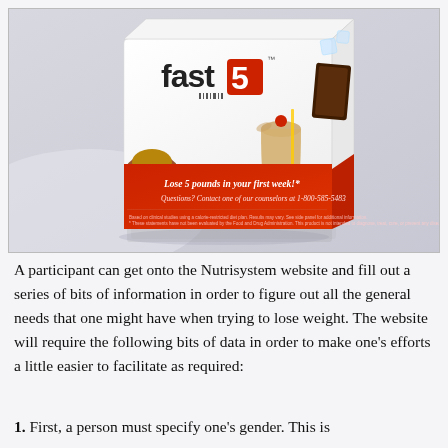[Figure (photo): A product box for 'fast5' weight loss program showing 'Lose 5 pounds in your first week!' with images of food items (muffin, chocolate bar, milkshake) on a white/red box. The lower red portion reads 'Questions? Contact one of our counselors at 1-800-585-5483'.]
A participant can get onto the Nutrisystem website and fill out a series of bits of information in order to figure out all the general needs that one might have when trying to lose weight. The website will require the following bits of data in order to make one's efforts a little easier to facilitate as required:
1. First, a person must specify one's gender. This is